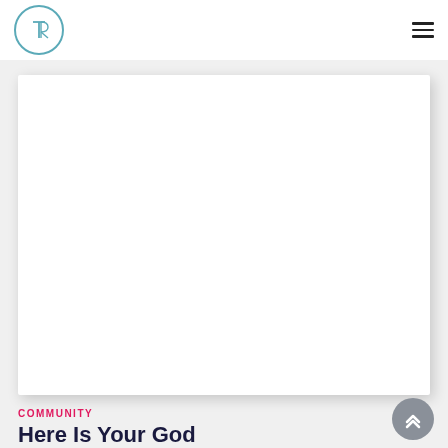TR logo and navigation
[Figure (other): White rectangular image placeholder with drop shadow]
COMMUNITY
Here Is Your God